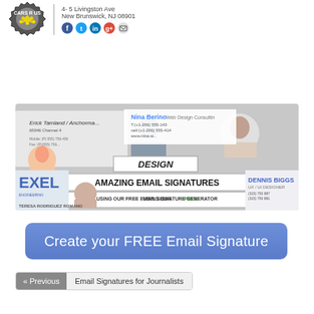[Figure (logo): Company logo badge with gear/shield shape and stars, followed by divider and address text '4-5 Livingston Ave, New Brunswick, NJ 08901' with social media icons (Facebook, Twitter, LinkedIn, Google+, Email)]
[Figure (infographic): Promotional banner showing various email signature examples with people's photos and text overlay reading 'DESIGN AMAZING EMAIL SIGNATURES USING OUR FREE EMAIL SIGNATURE GENERATOR']
Create your FREE Email Signature
« Previous   Email Signatures for Journalists